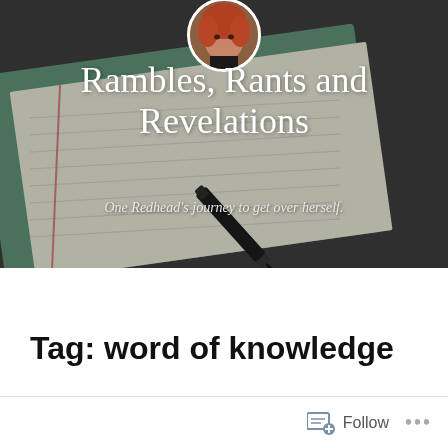[Figure (photo): Blog header image showing a notebook with lined pages and a black fountain pen, with a circular avatar photo of a woman with curly red hair overlaid at the top center. Dark background with teal/green notebook cover visible.]
Rambles, Rants and Revelations
One Redhead's journey to get over herself.
Tag: word of knowledge
Follow ...